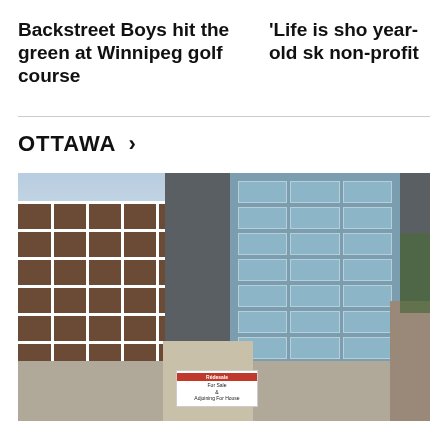Backstreet Boys hit the green at Winnipeg golf course
'Life is sho year-old sk non-profit
OTTAWA >
[Figure (photo): A multi-storey building complex in Ottawa, showing a brown brick building on the left and a modern grey and glass building on the right, with a for-sale or for-lease sign visible at the entrance level.]